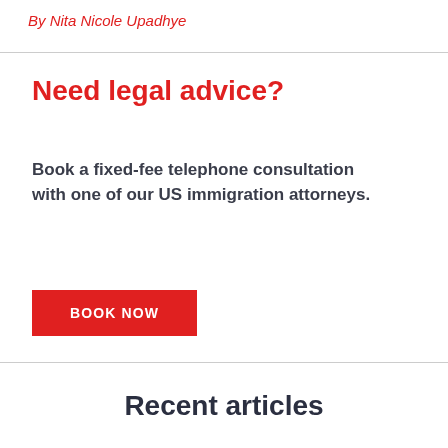By Nita Nicole Upadhye
Need legal advice?
Book a fixed-fee telephone consultation with one of our US immigration attorneys.
BOOK NOW
Recent articles